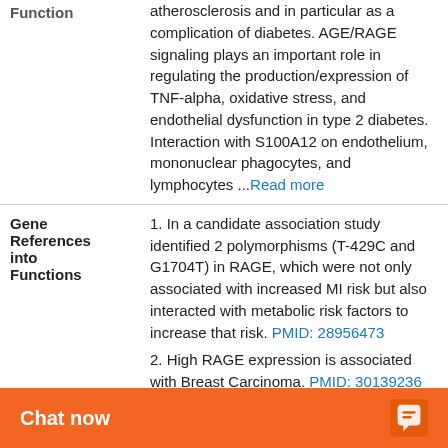atherosclerosis and in particular as a complication of diabetes. AGE/RAGE signaling plays an important role in regulating the production/expression of TNF-alpha, oxidative stress, and endothelial dysfunction in type 2 diabetes. Interaction with S100A12 on endothelium, mononuclear phagocytes, and lymphocytes ... Read more
Gene References into Functions
1. In a candidate association study identified 2 polymorphisms (T-429C and G1704T) in RAGE, which were not only associated with increased MI risk but also interacted with metabolic risk factors to increase that risk. PMID: 28956473
2. High RAGE expression is associated with Breast Carcinoma. PMID: 30139236
3. AGEs increase IL-6 and ICAM-1 expression via the RAGE, MAPK and NF-kappaB ...
Show More